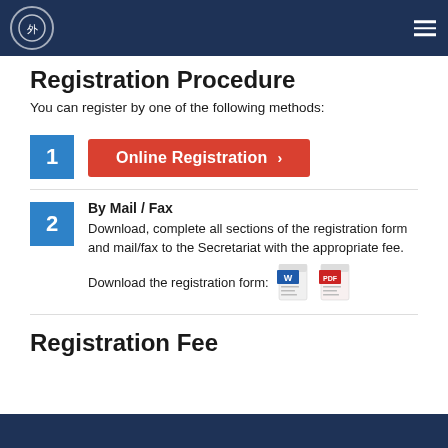Navigation header with logo and menu
Registration Procedure
You can register by one of the following methods:
1 Online Registration
2 By Mail / Fax
Download, complete all sections of the registration form and mail/fax to the Secretariat with the appropriate fee.
Download the registration form: [Word icon] [PDF icon]
Registration Fee